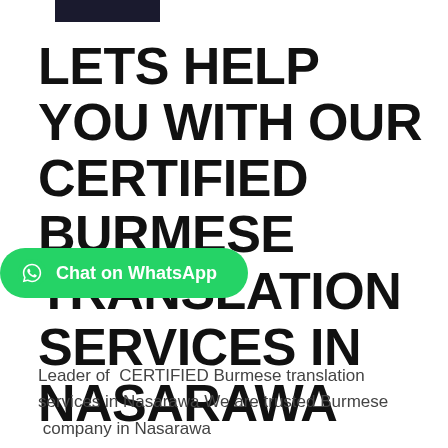[Figure (logo): Dark rectangular logo/image at top of page]
LETS HELP YOU WITH OUR CERTIFIED BURMESE TRANSLATION SERVICES IN NASARAWA
[Figure (other): WhatsApp chat button with WhatsApp icon and text 'Chat on WhatsApp' on green rounded background]
Leader of  CERTIFIED Burmese translation services in Nasarawa We are trusted Burmese  company in Nasarawa